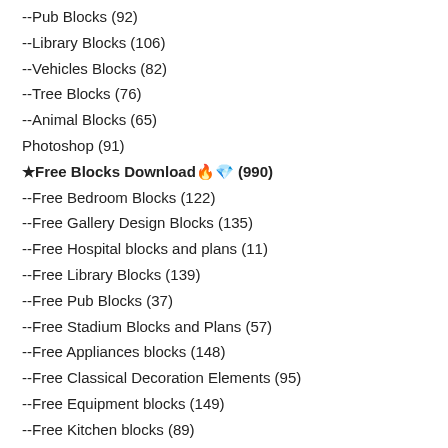--Pub Blocks (92)
--Library Blocks (106)
--Vehicles Blocks (82)
--Tree Blocks (76)
--Animal Blocks (65)
Photoshop (91)
★Free Blocks Download🔥💎 (990)
--Free Bedroom Blocks (122)
--Free Gallery Design Blocks (135)
--Free Hospital blocks and plans (11)
--Free Library Blocks (139)
--Free Pub Blocks (37)
--Free Stadium Blocks and Plans (57)
--Free Appliances blocks (148)
--Free Classical Decoration Elements (95)
--Free Equipment blocks (149)
--Free Kitchen blocks (89)
--Free Lighting blocks (81)
--Free Living room blocks (140)
--Free Architecture details (290)